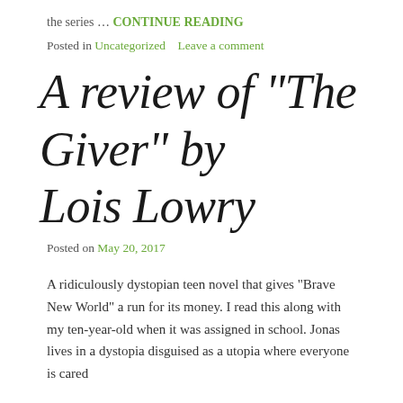the series … CONTINUE READING
Posted in Uncategorized    Leave a comment
A review of "The Giver" by Lois Lowry
Posted on May 20, 2017
A ridiculously dystopian teen novel that gives "Brave New World" a run for its money. I read this along with my ten-year-old when it was assigned in school. Jonas lives in a dystopia disguised as a utopia where everyone is cared